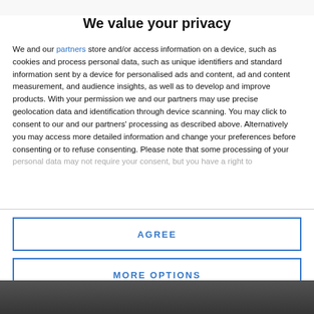We value your privacy
We and our partners store and/or access information on a device, such as cookies and process personal data, such as unique identifiers and standard information sent by a device for personalised ads and content, ad and content measurement, and audience insights, as well as to develop and improve products. With your permission we and our partners may use precise geolocation data and identification through device scanning. You may click to consent to our and our partners' processing as described above. Alternatively you may access more detailed information and change your preferences before consenting or to refuse consenting. Please note that some processing of your personal data may not require your consent, but you have a right to
AGREE
MORE OPTIONS
[Figure (photo): Background photo strip at the bottom of the page, partially visible dark image]